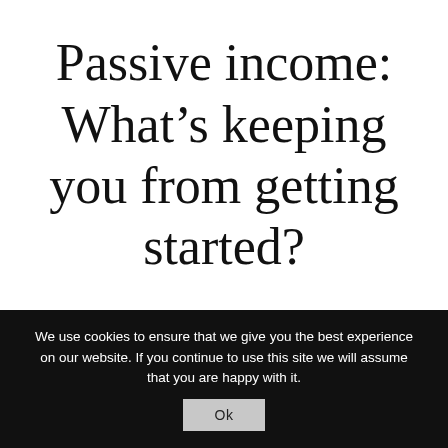Passive income: What's keeping you from getting started?
We use cookies to ensure that we give you the best experience on our website. If you continue to use this site we will assume that you are happy with it.